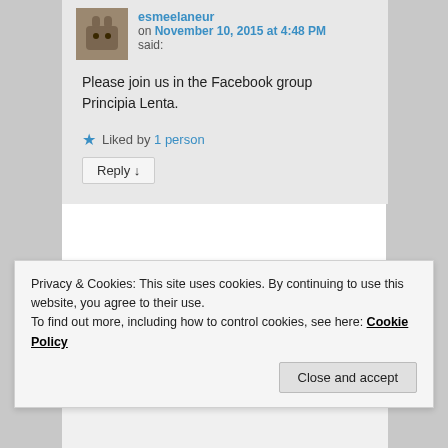esmeelaneur on November 10, 2015 at 4:48 PM said:
Please join us in the Facebook group Principia Lenta.
★ Liked by 1 person
Reply ↓
Tia on February 11, 2018 at 5:18 PM
Privacy & Cookies: This site uses cookies. By continuing to use this website, you agree to their use.
To find out more, including how to control cookies, see here: Cookie Policy
Close and accept